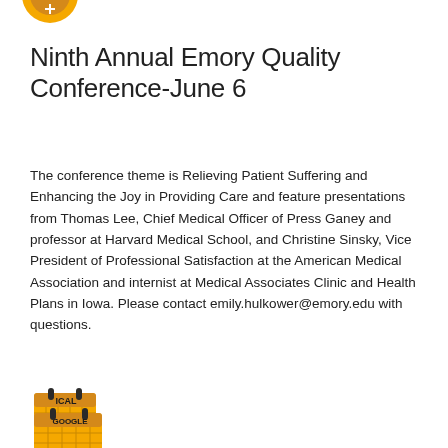[Figure (logo): Partial golden/yellow circular icon at top left (cropped)]
Ninth Annual Emory Quality Conference-June 6
The conference theme is Relieving Patient Suffering and Enhancing the Joy in Providing Care and feature presentations from Thomas Lee, Chief Medical Officer of Press Ganey and professor at Harvard Medical School, and Christine Sinsky, Vice President of Professional Satisfaction at the American Medical Association and internist at Medical Associates Clinic and Health Plans in Iowa. Please contact emily.hulkower@emory.edu with questions.
[Figure (other): Black 'Read More' button]
[Figure (other): ICAL calendar add icon in gold/yellow]
[Figure (other): GOOGLE calendar add icon in gold/yellow (partially visible)]